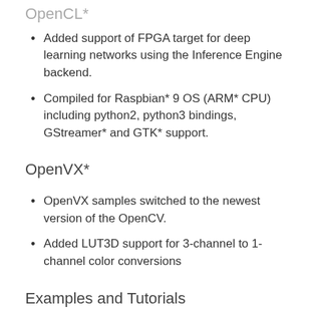OpenCL*
Added support of FPGA target for deep learning networks using the Inference Engine backend.
Compiled for Raspbian* 9 OS (ARM* CPU) including python2, python3 bindings, GStreamer* and GTK* support.
OpenVX*
OpenVX samples switched to the newest version of the OpenCV.
Added LUT3D support for 3-channel to 1-channel color conversions
Examples and Tutorials
Open Model Zoo